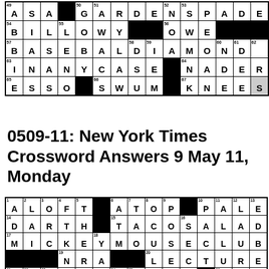[Figure (other): Bottom rows of a crossword puzzle grid showing entries: ASA, GARDENSPADE, BILLOWY, OWE, BASEBALL DIAMOND, INANYCASE, NADER, ESSO, SWUM, KNEES]
0509-11: New York Times Crossword Answers 9 May 11, Monday
[Figure (other): Top portion of a crossword puzzle grid showing entries: ALOFT, ATOP, PALE, DARTH, TACOSALAD, MICKEYMOUSECLUB, NRA, LECTURE, PEGOMYHEART, DER, CRUX, AGR, DENG, and partial row 30]